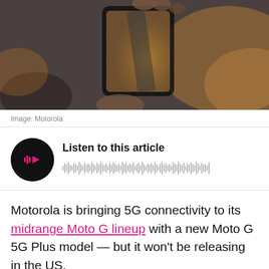[Figure (photo): A hand holding a smartphone with a photo of a cobblestone path displayed on screen, warm bokeh background]
Image: Motorola
[Figure (other): Audio player widget with play button and waveform. Title: Listen to this article]
Motorola is bringing 5G connectivity to its midrange Moto G lineup with a new Moto G 5G Plus model — but it won't be releasing in the US.